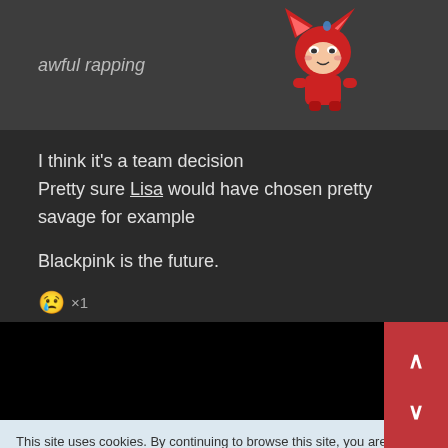[Figure (illustration): Dark gray banner with italic text 'awful rapping' and a red fox/cat anime-style emoji mascot character on the right]
I think it's a team decision
Pretty sure Lisa would have chosen pretty savage for example

Blackpink is the future.
😢 ×1
This site uses cookies. By continuing to browse this site, you are agreeing to our use of cookies.